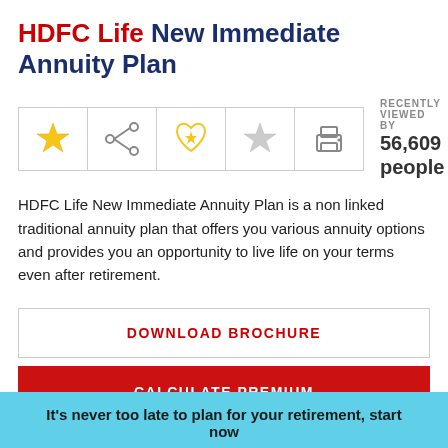HDFC Life New Immediate Annuity Plan
[Figure (infographic): Icon toolbar with star rating, share, wishlist and print icons; recently viewed count of 56,609 people]
HDFC Life New Immediate Annuity Plan is a non linked traditional annuity plan that offers you various annuity options and provides you an opportunity to live life on your terms even after retirement.
DOWNLOAD BROCHURE
CALCULATE PREMIUM
It's never too late to plan for your retirement, start now